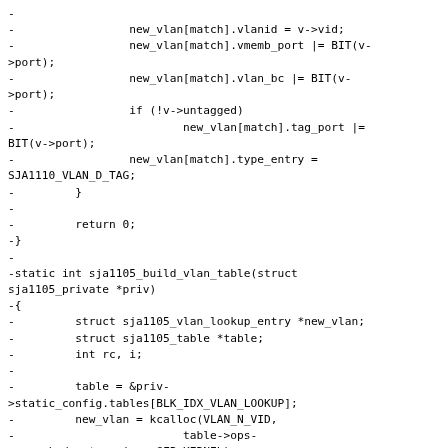-
-                 new_vlan[match].vlanid = v->vid;
-                 new_vlan[match].vmemb_port |= BIT(v->port);
-                 new_vlan[match].vlan_bc |= BIT(v->port);
-                 if (!v->untagged)
-                         new_vlan[match].tag_port |= BIT(v->port);
-                 new_vlan[match].type_entry = SJA1110_VLAN_D_TAG;
-         }
-
-         return 0;
-}
-
-static int sja1105_build_vlan_table(struct sja1105_private *priv)
-{
-         struct sja1105_vlan_lookup_entry *new_vlan;
-         struct sja1105_table *table;
-         int rc, i;
-
-         table = &priv->static_config.tables[BLK_IDX_VLAN_LOOKUP];
-         new_vlan = kcalloc(VLAN_N_VID,
-                         table->ops->unpacked_entry_size, GFP_KERNEL);
-         if (!new_vlan)
-                 return -ENOMEM;